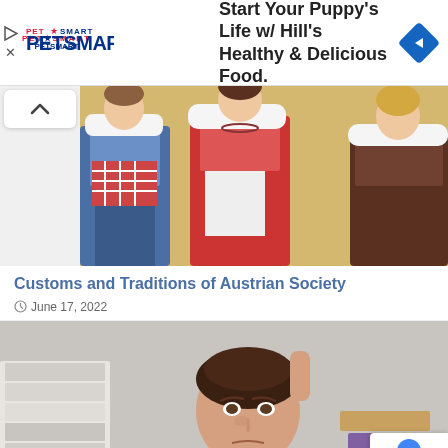[Figure (screenshot): PetSmart advertisement banner: 'Start Your Puppy's Life w/ Hill's Healthy & Delicious Food.' with PetSmart logo on left and blue navigation diamond icon on right]
[Figure (photo): Three women wearing traditional Austrian dirndl dresses in blue, red, and dark colors with white aprons]
Customs and Traditions of Austrian Society
June 17, 2022
[Figure (photo): Woman with dark hair looking stressed or confused, sitting near stacks of books, with one hand raised]